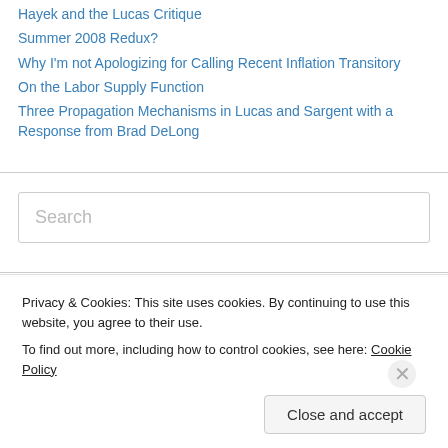Hayek and the Lucas Critique
Summer 2008 Redux?
Why I'm not Apologizing for Calling Recent Inflation Transitory
On the Labor Supply Function
Three Propagation Mechanisms in Lucas and Sargent with a Response from Brad DeLong
Search
Recent Me…
Privacy & Cookies: This site uses cookies. By continuing to use this website, you agree to their use.
To find out more, including how to control cookies, see here: Cookie Policy
Close and accept